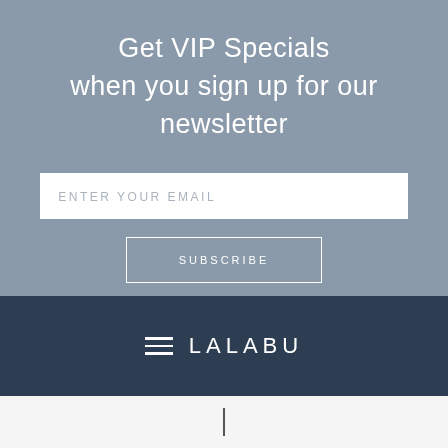Get VIP Specials when you sign up for our newsletter
ENTER YOUR EMAIL
SUBSCRIBE
[Figure (logo): Lalabu brand logo with hamburger/menu icon and the text LALABU in white on a dark navy background]